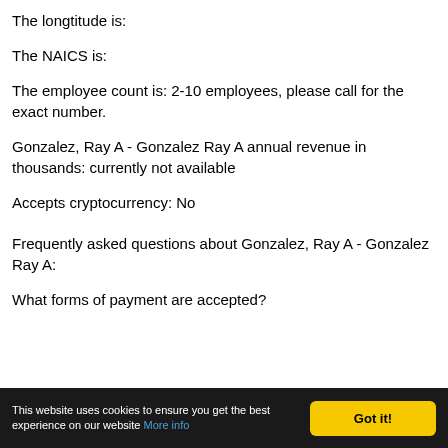The longtitude is:
The NAICS is:
The employee count is: 2-10 employees, please call for the exact number.
Gonzalez, Ray A - Gonzalez Ray A annual revenue in thousands: currently not available
Accepts cryptocurrency: No
Frequently asked questions about Gonzalez, Ray A - Gonzalez Ray A:
What forms of payment are accepted?
This website uses cookies to ensure you get the best experience on our website More info  Got it!